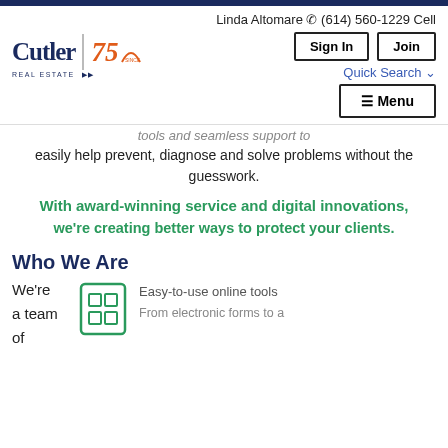Linda Altomare (614) 560-1229 Cell
[Figure (logo): Cutler Real Estate logo with 75th anniversary mark]
Sign In   Join   Quick Search   Menu
tools and seamless support to easily help prevent, diagnose and solve problems without the guesswork.
With award-winning service and digital innovations, we're creating better ways to protect your clients.
Who We Are
We're a team of
Easy-to-use online tools From electronic forms to a